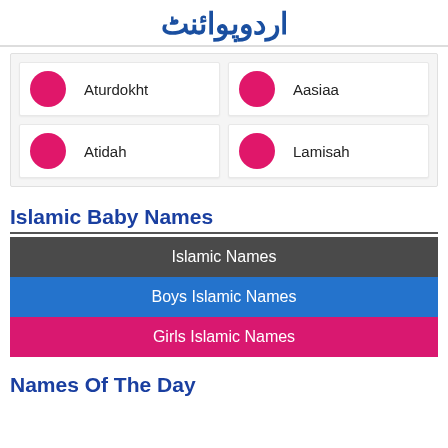اردوپوائنٹ
Aturdokht
Aasiaa
Atidah
Lamisah
Islamic Baby Names
Islamic Names
Boys Islamic Names
Girls Islamic Names
Names Of The Day